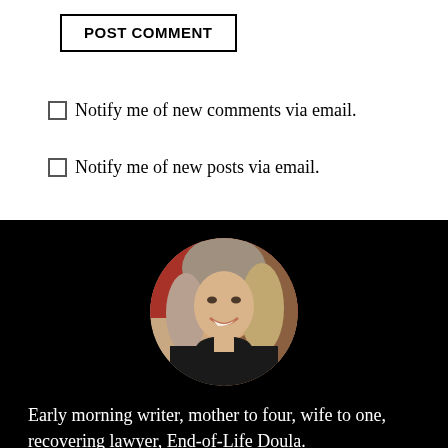POST COMMENT
☐ Notify me of new comments via email.
☐ Notify me of new posts via email.
[Figure (photo): Circular profile photo of a smiling woman with light brown/grey hair wearing a black top, seated in front of a red chair background.]
Early morning writer, mother to four, wife to one, recovering lawyer, End-of-Life Doula.